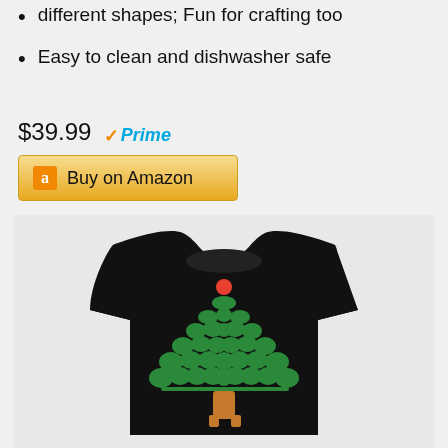different shapes; Fun for crafting too
Easy to clean and dishwasher safe
$39.99 Prime
Buy on Amazon
[Figure (photo): Black t-shirt with a Christmas tree design made of Star Wars character silhouettes in green, topped with a red Death Star ornament and an AT-AT walker trunk at the base]